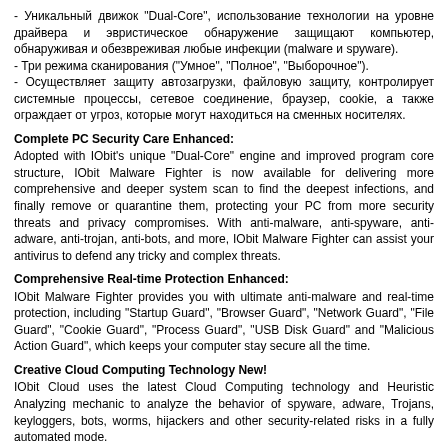- Уникальный движок "Dual-Core", использование технологии на уровне драйвера и эвристическое обнаружение защищают компьютер, обнаруживая и обезвреживая любые инфекции (malware и spyware).
- Три режима сканирования ("Умное", "Полное", "Выборочное").
- Осуществляет защиту автозагрузки, файловую защиту, контролирует системные процессы, сетевое соединение, браузер, cookie, а также ограждает от угроз, которые могут находиться на сменных носителях.
Complete PC Security Care Enhanced:
Adopted with IObit's unique "Dual-Core" engine and improved program core structure, IObit Malware Fighter is now available for delivering more comprehensive and deeper system scan to find the deepest infections, and finally remove or quarantine them, protecting your PC from more security threats and privacy compromises. With anti-malware, anti-spyware, anti-adware, anti-trojan, anti-bots, and more, IObit Malware Fighter can assist your antivirus to defend any tricky and complex threats.
Comprehensive Real-time Protection Enhanced:
IObit Malware Fighter provides you with ultimate anti-malware and real-time protection, including "Startup Guard", "Browser Guard", "Network Guard", "File Guard", "Cookie Guard", "Process Guard", "USB Disk Guard" and "Malicious Action Guard", which keeps your computer stay secure all the time.
Creative Cloud Computing Technology New!
IObit Cloud uses the latest Cloud Computing technology and Heuristic Analyzing mechanic to analyze the behavior of spyware, adware, Trojans, keyloggers, bots, worms, hijackers and other security-related risks in a fully automated mode.
What's new in version 8.1:
+ Optimized scan engine for faster scan and lower system resource usage.
+ Newly protected more file types including .pvhd, .pbe, .pfi, and .adi in Anti-ransomware Engine for a more secure PC.